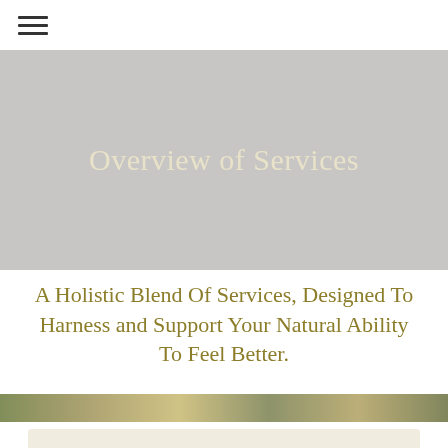≡
Overview of Services
A Holistic Blend Of Services, Designed To Harness and Support Your Natural Ability To Feel Better.
[Figure (photo): A horizontal photo strip showing natural outdoor scenery with foliage and plants in warm tones]
[Figure (photo): A partially visible rounded card or image panel at the bottom of the page]